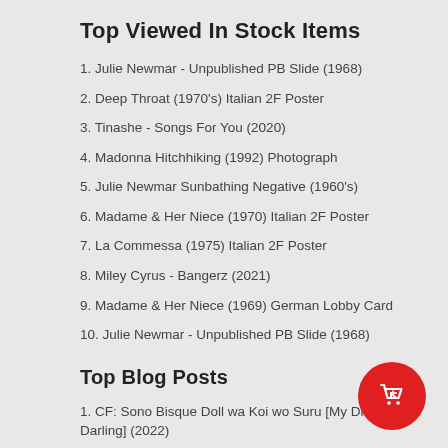Top Viewed In Stock Items
1. Julie Newmar - Unpublished PB Slide (1968)
2. Deep Throat (1970's) Italian 2F Poster
3. Tinashe - Songs For You (2020)
4. Madonna Hitchhiking (1992) Photograph
5. Julie Newmar Sunbathing Negative (1960's)
6. Madame & Her Niece (1970) Italian 2F Poster
7. La Commessa (1975) Italian 2F Poster
8. Miley Cyrus - Bangerz (2021)
9. Madame & Her Niece (1969) German Lobby Card
10. Julie Newmar - Unpublished PB Slide (1968)
Top Blog Posts
1. CF: Sono Bisque Doll wa Koi wo Suru [My Dress-Up Darling] (2022)
2. CF: Raw Justice (1994)
3. BB: In Harms Way (1965)
4. CF: Vita coi figli [Life With Children] (1990)